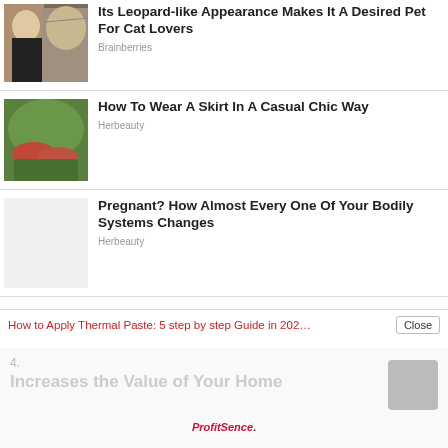[Figure (photo): Woman holding up a large spotted cat (leopard-like)]
Its Leopard-like Appearance Makes It A Desired Pet For Cat Lovers
Brainberries
[Figure (photo): Couple lying on grass in colorful patterned clothing]
How To Wear A Skirt In A Casual Chic Way
Herbeauty
[Figure (photo): Blank/placeholder image for pregnancy article]
Pregnant? How Almost Every One Of Your Bodily Systems Changes
Herbeauty
How to Apply Thermal Paste: 5 step by step Guide in 2023
Close
4. Increases the Value of Your Home
ProfitSence.